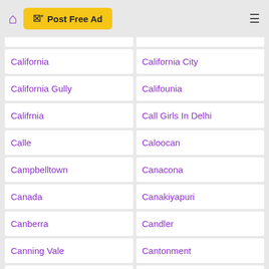[Figure (screenshot): Navigation header with home icon, Post Free Ad button, and hamburger menu]
California
California City
California Gully
Califounia
Califrnia
Call Girls In Delhi
Calle
Caloocan
Campbelltown
Canacona
Canada
Canakiyapuri
Canberra
Candler
Canning Vale
Cantonment
Cape May
Capitol Heights